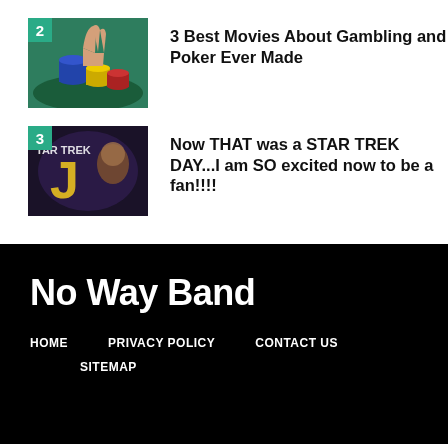3 Best Movies About Gambling and Poker Ever Made
Now THAT was a STAR TREK DAY...I am SO excited now to be a fan!!!!
No Way Band
HOME   PRIVACY POLICY   CONTACT US   SITEMAP